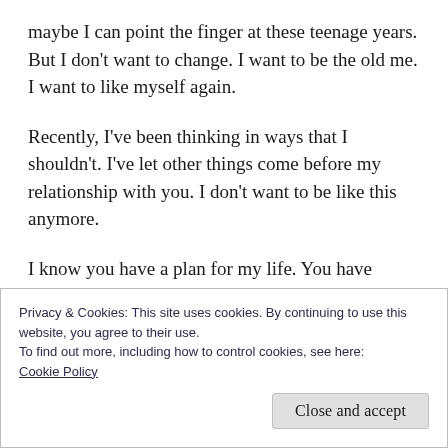maybe I can point the finger at these teenage years.  But I don't want to change.  I want to be the old me.  I want to like myself again.
Recently, I've been thinking in ways that I shouldn't.  I've let other things come before my relationship with you.  I don't want to be like this anymore.
I know you have a plan for my life.  You have called me.  Yet, I know I can't move on unless I get rid of this pride, this way that I look down on people that are different
Privacy & Cookies: This site uses cookies. By continuing to use this website, you agree to their use.
To find out more, including how to control cookies, see here:
Cookie Policy
Close and accept